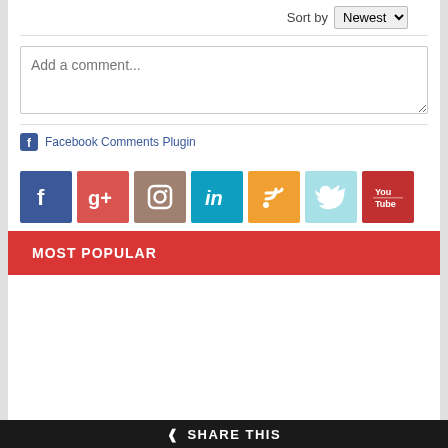Sort by Newest
Add a comment...
Facebook Comments Plugin
[Figure (infographic): Row of social media icons: Facebook (blue), Google+ (red), Instagram (tan), LinkedIn (blue), RSS (orange), Twitter (light blue), YouTube (red)]
MOST POPULAR
SHARE THIS